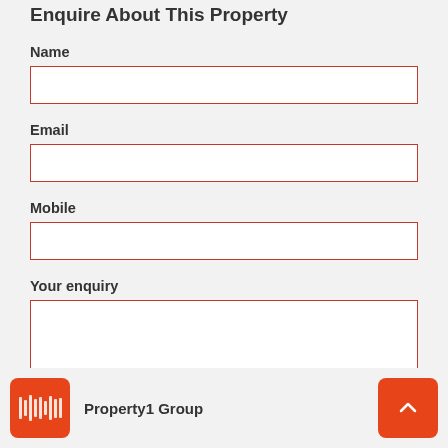Enquire About This Property
Name
Email
Mobile
Your enquiry
Property1 Group